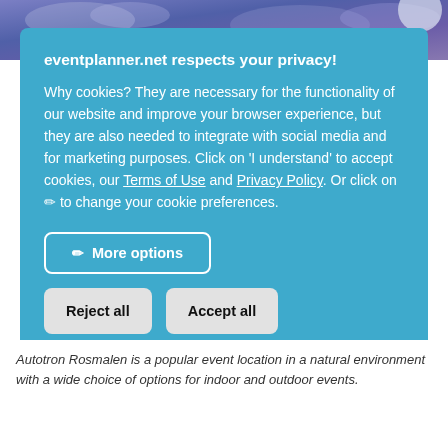[Figure (photo): Purple/blue cloudy sky background photo partially visible behind cookie consent modal]
eventplanner.net respects your privacy!
Why cookies? They are necessary for the functionality of our website and improve your browser experience, but they are also needed to integrate with social media and for marketing purposes. Click on 'I understand' to accept cookies, our Terms of Use and Privacy Policy. Or click on ✏ to change your cookie preferences.
✏ More options
Reject all
Accept all
Autotron Rosmalen is a popular event location in a natural environment with a wide choice of options for indoor and outdoor events.